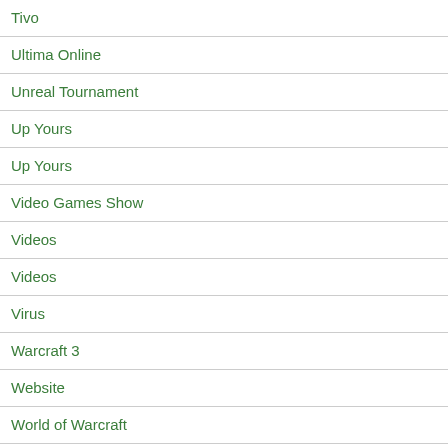Tivo
Ultima Online
Unreal Tournament
Up Yours
Up Yours
Video Games Show
Videos
Videos
Virus
Warcraft 3
Website
World of Warcraft
Xbox